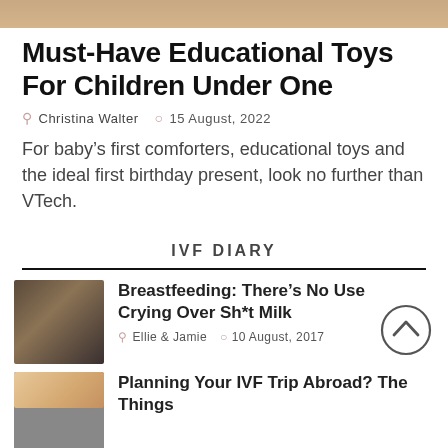[Figure (photo): Top portion of an image, cropped at the top of the page]
Must-Have Educational Toys For Children Under One
Christina Walter   15 August, 2022
For baby's first comforters, educational toys and the ideal first birthday present, look no further than VTech.
IVF DIARY
[Figure (photo): Thumbnail photo of a woman with dark hair]
Breastfeeding: There's No Use Crying Over Sh*t Milk
Ellie & Jamie   10 August, 2017
[Figure (photo): Partial thumbnail image at the bottom]
Planning Your IVF Trip Abroad? The Things...